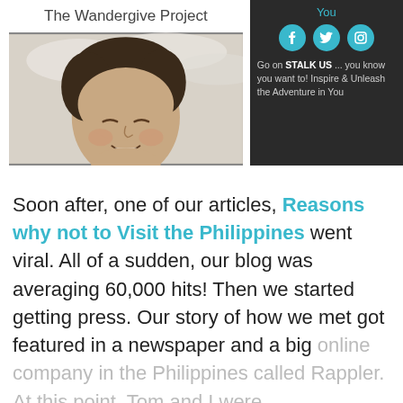The Wandergive Project
[Figure (photo): Close-up photo of a smiling young person with curly hair against a cloudy sky background]
[Figure (infographic): Dark panel with 'You' heading in teal, Facebook, Twitter and Instagram social icons in teal circles, and text: 'Go on STALK US ... you know you want to! Inspire & Unleash the Adventure in You']
Soon after, one of our articles, Reasons why not to Visit the Philippines went viral. All of a sudden, our blog was averaging 60,000 hits! Then we started getting press. Our story of how we met got featured in a newspaper and a big online company in the Philippines called Rappler. At this point, Tom and I were